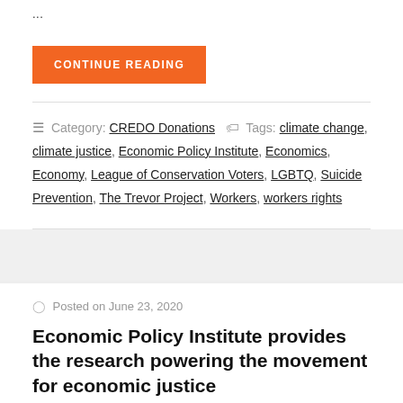...
CONTINUE READING
Category: CREDO Donations  Tags: climate change, climate justice, Economic Policy Institute, Economics, Economy, League of Conservation Voters, LGBTQ, Suicide Prevention, The Trevor Project, Workers, workers rights
Posted on June 23, 2020
Economic Policy Institute provides the research powering the movement for economic justice